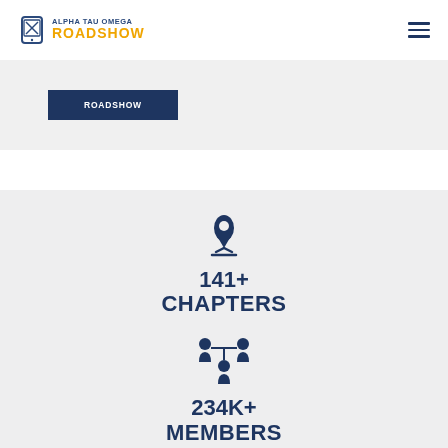ALPHA TAU OMEGA ROADSHOW
[Figure (infographic): Infographic showing 141+ Chapters with location pin icon, 234K+ Members with people network icon, and partially visible graduation icon at bottom]
141+
CHAPTERS
234K+
MEMBERS